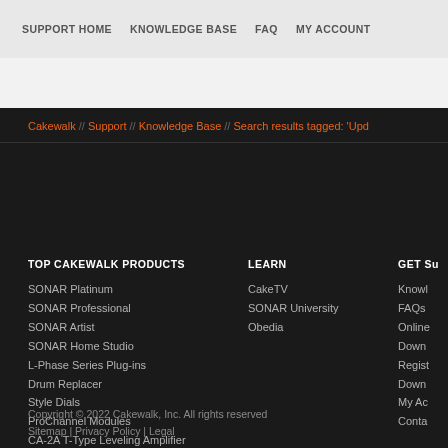SUPPORT HOME   KNOWLEDGE BASE   FAQ   MY ACCOUNT
Cakewalk // Support // Knowledge Base // Search results tagged: 'Upd
TOP CAKEWALK PRODUCTS
SONAR Platinum
SONAR Professional
SONAR Artist
SONAR Home Studio
L-Phase Series Plug-ins
Drum Replacer
Style Dials
ProChannel Modules
CA-2A T-Type Leveling Amplifier
Studio Instruments
Z3TA+ 2
Rapture Pro
LEARN
CakeTV
SONAR University
Obedia
GET SU
Knowl
FAQs
Online
Down
Regist
Down
My Ac
Conta
Copyright © 2022 Cakewalk, Inc. All rights reserved
Sitemap | Privacy Policy | Legal